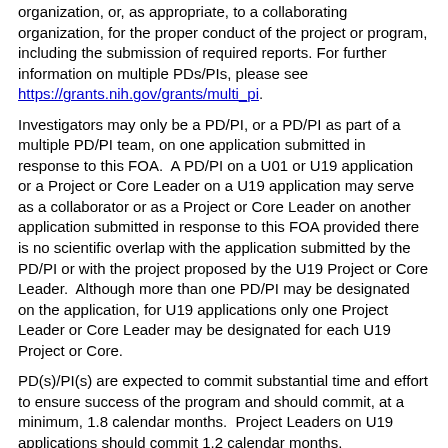organization, or, as appropriate, to a collaborating organization, for the proper conduct of the project or program, including the submission of required reports. For further information on multiple PDs/PIs, please see https://grants.nih.gov/grants/multi_pi.
Investigators may only be a PD/PI, or a PD/PI as part of a multiple PD/PI team, on one application submitted in response to this FOA. A PD/PI on a U01 or U19 application or a Project or Core Leader on a U19 application may serve as a collaborator or as a Project or Core Leader on another application submitted in response to this FOA provided there is no scientific overlap with the application submitted by the PD/PI or with the project proposed by the U19 Project or Core Leader. Although more than one PD/PI may be designated on the application, for U19 applications only one Project Leader or Core Leader may be designated for each U19 Project or Core.
PD(s)/PI(s) are expected to commit substantial time and effort to ensure success of the program and should commit, at a minimum, 1.8 calendar months. Project Leaders on U19 applications should commit 1.2 calendar months.
2. Cost Sharing or Matching